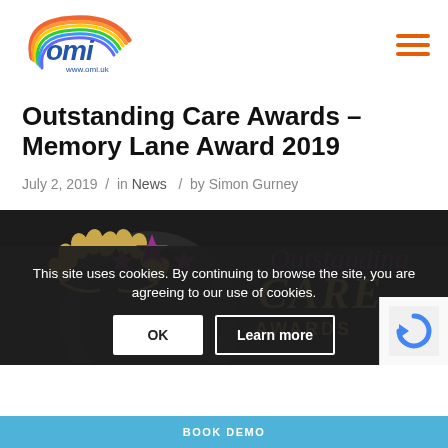omi www.omi.uk [navigation menu]
Outstanding Care Awards – Memory Lane Award 2019
July 2, 2019 / in News / by Simon Gurney
[Figure (photo): Outstanding Care Awards 2019 logo with gold laurel wreaths, purple stars, and text 'Outstanding CARE AWARDS Devon & Cornwall 2019' on dark background]
This site uses cookies. By continuing to browse the site, you are agreeing to our use of cookies.
OK   Learn more
BOOK DEMO